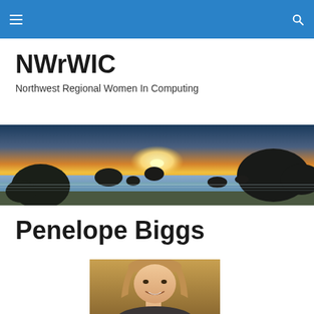NWrWIC navigation bar
NWrWIC
Northwest Regional Women In Computing
[Figure (photo): Panoramic beach sunset photo with large rocks/sea stacks silhouetted against an orange and yellow sky over calm ocean water]
Penelope Biggs
[Figure (photo): Portrait photo of a young girl with long blonde/reddish hair, smiling, against a warm golden-brown background]